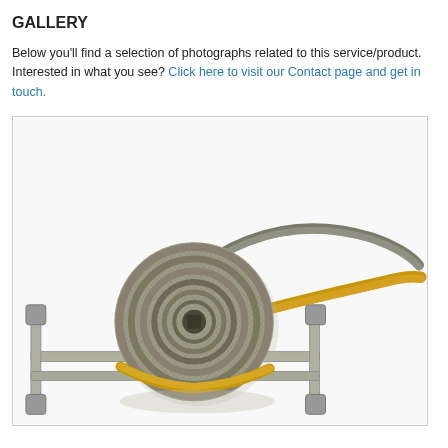GALLERY
Below you'll find a selection of photographs related to this service/product. Interested in what you see? Click here to visit our Contact page and get in touch.
[Figure (photo): A coiled roll of metallic mesh/fabric strip with a yellow backing strap, placed on top of a rectangular metal frame with cross-members and corner fittings. The strap trails across the frame to the right. White background.]